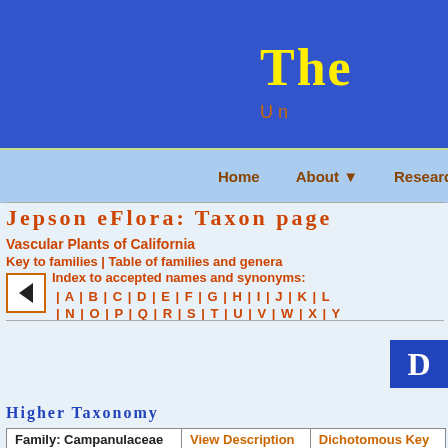The
U n
Home | About ▼ | Research ▼ | Da
Jepson eFlora: Taxon page
Vascular Plants of California
Key to families | Table of families and genera
Index to accepted names and synonyms: | A | B | C | D | E | F | G | H | I | J | K | L | N | O | P | Q | R | S | T | U | V | W | X | Y
Higher Taxonomy
| Family: Campanulaceae | View Description | Dichotomous Key |
| --- | --- | --- |